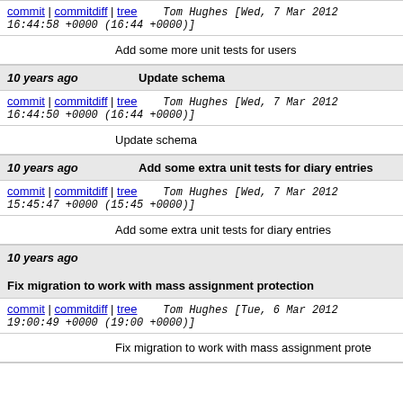commit | commitdiff | tree   Tom Hughes [Wed, 7 Mar 2012 16:44:58 +0000 (16:44 +0000)]
Add some more unit tests for users
10 years ago   Update schema
commit | commitdiff | tree   Tom Hughes [Wed, 7 Mar 2012 16:44:50 +0000 (16:44 +0000)]
Update schema
10 years ago   Add some extra unit tests for diary entries
commit | commitdiff | tree   Tom Hughes [Wed, 7 Mar 2012 15:45:47 +0000 (15:45 +0000)]
Add some extra unit tests for diary entries
10 years ago   Fix migration to work with mass assignment protection
commit | commitdiff | tree   Tom Hughes [Tue, 6 Mar 2012 19:00:49 +0000 (19:00 +0000)]
Fix migration to work with mass assignment prote...